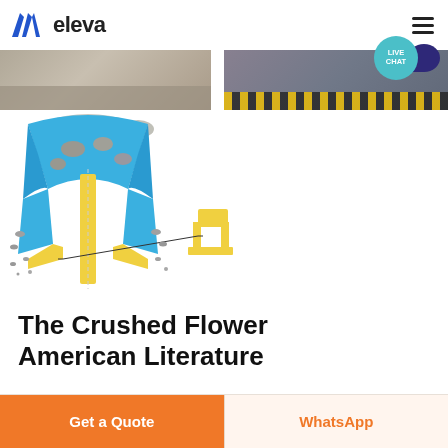eleva
[Figure (photo): Hero banner showing two photographs: left shows a construction/quarrying site with gravel/rock material, right shows a heavy industrial structure or dock area with yellow safety markings.]
[Figure (engineering-diagram): Technical cross-section diagram of a rock crusher mechanism. Shows a cone crusher in blue with yellow mechanical components including a vertical shaft and horizontal frame, with rocks being crushed shown in grey and blue.]
The Crushed Flower American Literature
Get a Quote
WhatsApp